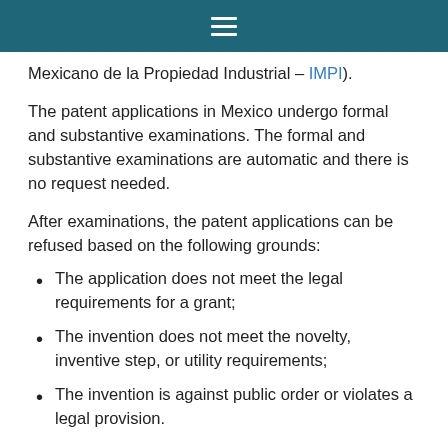≡
Mexicano de la Propiedad Industrial – IMPI).
The patent applications in Mexico undergo formal and substantive examinations. The formal and substantive examinations are automatic and there is no request needed.
After examinations, the patent applications can be refused based on the following grounds:
The application does not meet the legal requirements for a grant;
The invention does not meet the novelty, inventive step, or utility requirements;
The invention is against public order or violates a legal provision.